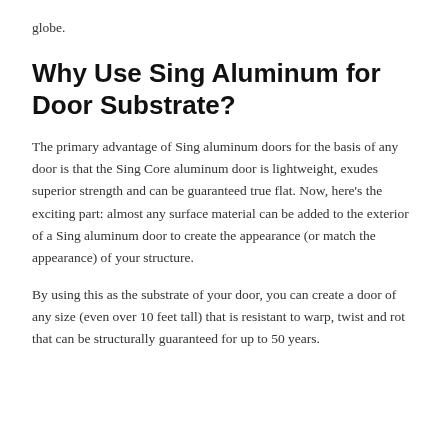globe.
Why Use Sing Aluminum for Door Substrate?
The primary advantage of Sing aluminum doors for the basis of any door is that the Sing Core aluminum door is lightweight, exudes superior strength and can be guaranteed true flat. Now, here’s the exciting part: almost any surface material can be added to the exterior of a Sing aluminum door to create the appearance (or match the appearance) of your structure.
By using this as the substrate of your door, you can create a door of any size (even over 10 feet tall) that is resistant to warp, twist and rot that can be structurally guaranteed for up to 50 years.